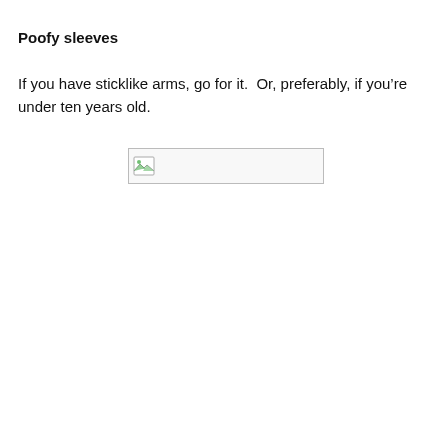Poofy sleeves
If you have sticklike arms, go for it.  Or, preferably, if you’re under ten years old.
[Figure (other): Broken/missing image placeholder with a small image icon on the left side]